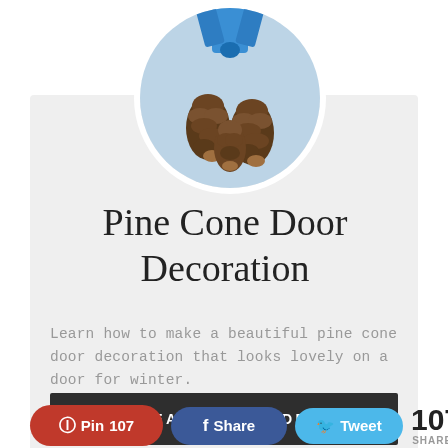[Figure (photo): Circular photo of pine cones hanging from a blue ribbon on a door, used as a door decoration]
Pine Cone Door Decoration
Learn how to make a beautiful pine cone door decoration that looks lovely on a door for winter.
READ THE GUIDE
Pin 107  Share  Tweet  107 SHARES